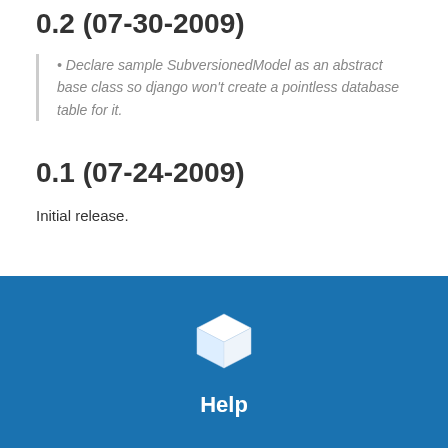0.2 (07-30-2009)
Declare sample SubversionedModel as an abstract base class so django won't create a pointless database table for it.
0.1 (07-24-2009)
Initial release.
[Figure (logo): White 3D cube icon above the word Help on a blue background footer]